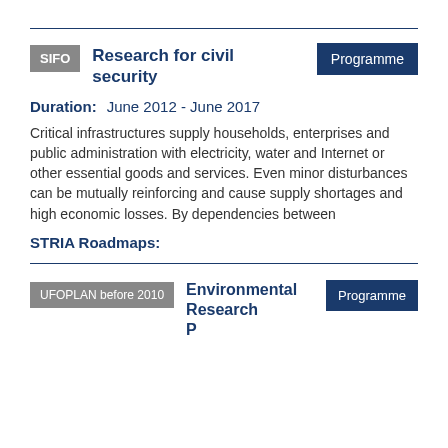SIFO | Research for civil security | Programme
Duration: June 2012 - June 2017
Critical infrastructures supply households, enterprises and public administration with electricity, water and Internet or other essential goods and services. Even minor disturbances can be mutually reinforcing and cause supply shortages and high economic losses. By dependencies between
STRIA Roadmaps:
UFOPLAN before 2010 | Environmental Research Programme of